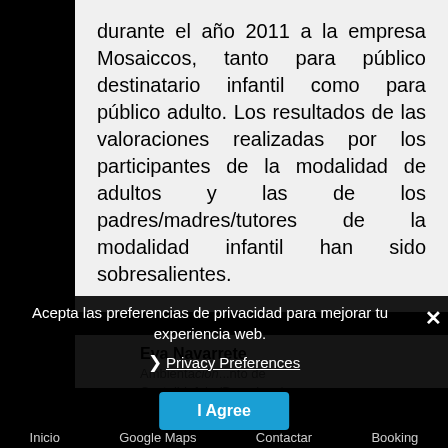durante el año 2011 a la empresa Mosaiccos, tanto para público destinatario infantil como para público adulto. Los resultados de las valoraciones realizadas por los participantes de la modalidad de adultos y las de los padres/madres/tutores de la modalidad infantil han sido sobresalientes.
Eva Navarrete
Ambientación... to de Castelldefels (Barcelona)
Acepta las preferencias de privacidad para mejorar tu experiencia web.
› Privacy Preferences
I Agree
Inicio   Google Maps   Contactar   Booking